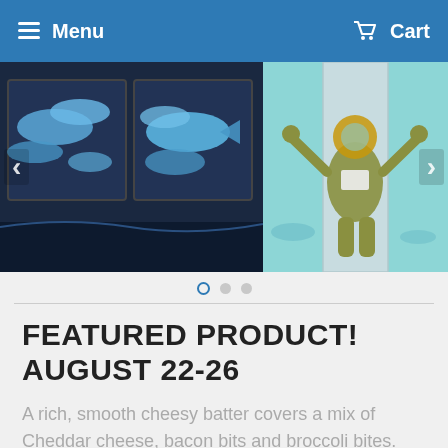Menu  Cart
[Figure (photo): Carousel showing two murals: left panel depicts blue fish/tuna artwork on dark background; right panel shows a diver in vintage diving suit with arms raised on teal background]
FEATURED PRODUCT! AUGUST 22-26
A rich, smooth cheesy batter covers a mix of Cheddar cheese, bacon bits and broccoli bites. Approximately 70-80 pieces per case